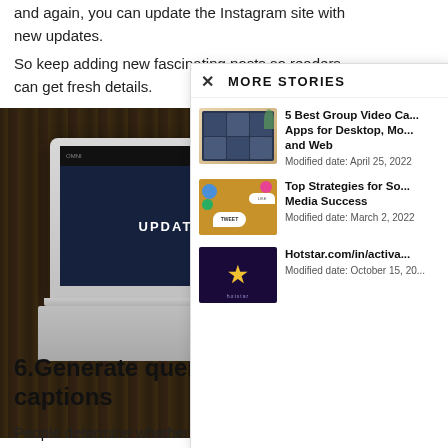and again, you can update the Instagram site with new updates.
So keep adding new fascinating posts so readers can get fresh details.
[Figure (photo): A laptop open on a wooden table showing a website with the word UPDATING on screen, with a hand on the keyboard.]
MORE STORIES
[Figure (photo): Thumbnail showing a laptop with video conference grid of participants in a bright room with a plant.]
5 Best Group Video Ca... Apps for Desktop, Mo... and Web
Modified date: April 25, 2022
[Figure (photo): Thumbnail showing social media icons and speech bubbles including TWEET and other social icons on a wooden surface.]
Top Strategies for So... Media Success
Modified date: March 2, 2022
[Figure (photo): Thumbnail showing a hand holding a tablet displaying the Hotstar streaming app logo.]
Hotstar.com/in/activa...
Modified date: October 15, 20...
6.Generate queries with your captions
People determine whether to like an Instagram post or not after